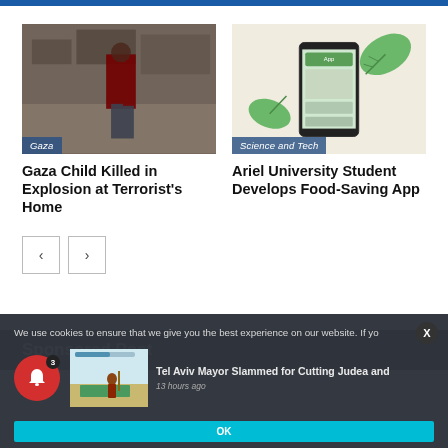[Figure (photo): Gaza destruction scene – person in red shirt near damaged wall, rubble visible, tag 'Gaza']
[Figure (photo): Science/Tech illustration – smartphone app with green leaves, food-saving app, tag 'Science and Tech']
Gaza Child Killed in Explosion at Terrorist's Home
Ariel University Student Develops Food-Saving App
Sponsored Post
We use cookies to ensure that we give you the best experience on our website. If yo
[Figure (illustration): News preview thumbnail: animated scene of a figure in robes on a green field]
Tel Aviv Mayor Slammed for Cutting Judea and
13 hours ago